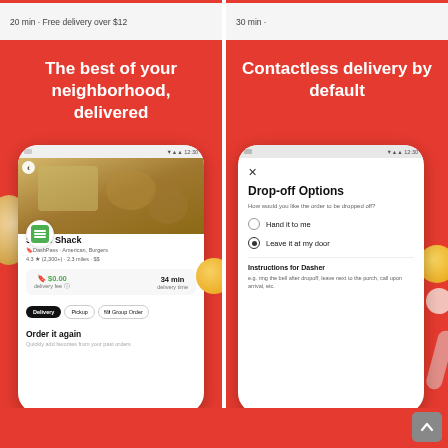[Figure (screenshot): Top strip showing delivery app cards with '20 min · Free delivery over $12' and '30 min ·' text]
[Figure (screenshot): Left panel: Red background with white bold text 'The best of your neighborhood, delivered' and a phone mockup showing Shake Shack restaurant listing with $0.00 delivery fee, 34 min delivery time, Delivery/Pickup/Group Order buttons, and 'Order it again' section]
[Figure (screenshot): Right panel: Red background with white bold text 'Contactless delivery by default' and a phone mockup showing Drop-off Options dialog with options 'Hand it to me' and 'Leave it at my door' (selected), plus Instructions for Dasher field]
[Figure (screenshot): Bottom red strip with scroll-to-top button (gray square with up arrow)]